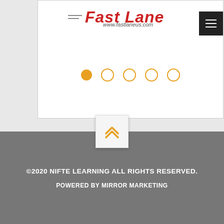[Figure (screenshot): Fast Lane website header with red italic logo text, www.fastlaneus.com URL, hamburger menu icon, and carousel dot navigation indicators (5 dots, first filled orange, rest outlined orange)]
[Figure (other): Back to top button with orange double chevron up arrow on light background]
©2020 NIFTE LEARNING ALL RIGHTS RESERVED.
POWERED BY MIRROR MARKETING